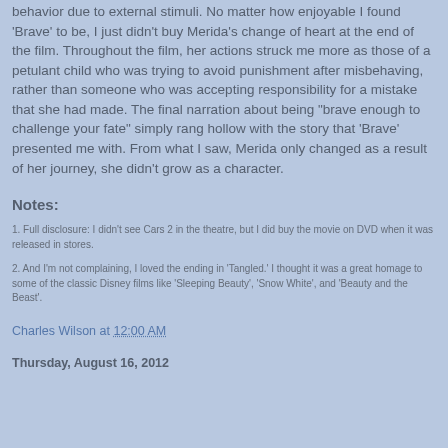behavior due to external stimuli. No matter how enjoyable I found 'Brave' to be, I just didn't buy Merida's change of heart at the end of the film. Throughout the film, her actions struck me more as those of a petulant child who was trying to avoid punishment after misbehaving, rather than someone who was accepting responsibility for a mistake that she had made. The final narration about being "brave enough to challenge your fate" simply rang hollow with the story that 'Brave' presented me with. From what I saw, Merida only changed as a result of her journey, she didn't grow as a character.
Notes:
1. Full disclosure: I didn't see Cars 2 in the theatre, but I did buy the movie on DVD when it was released in stores.
2. And I'm not complaining, I loved the ending in 'Tangled.' I thought it was a great homage to some of the classic Disney films like 'Sleeping Beauty', 'Snow White', and 'Beauty and the Beast'.
Charles Wilson at 12:00 AM
Thursday, August 16, 2012